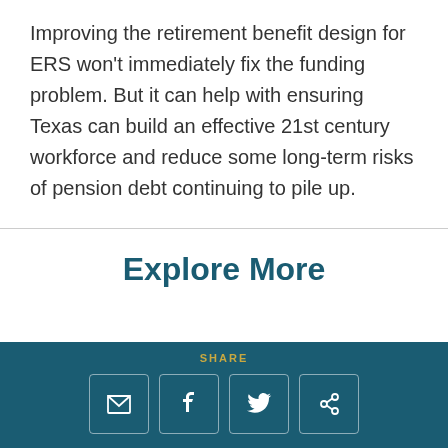Improving the retirement benefit design for ERS won't immediately fix the funding problem. But it can help with ensuring Texas can build an effective 21st century workforce and reduce some long-term risks of pension debt continuing to pile up.
Explore More
SHARE [email] [facebook] [twitter] [link]